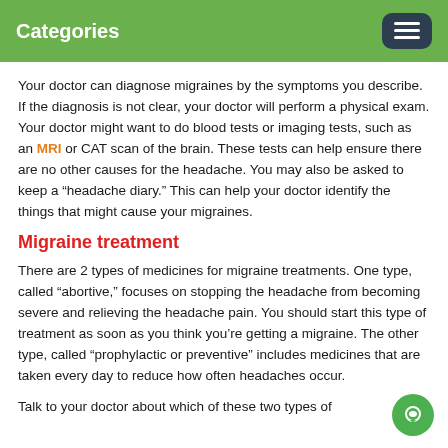Categories
Your doctor can diagnose migraines by the symptoms you describe. If the diagnosis is not clear, your doctor will perform a physical exam. Your doctor might want to do blood tests or imaging tests, such as an MRI or CAT scan of the brain. These tests can help ensure there are no other causes for the headache. You may also be asked to keep a “headache diary.” This can help your doctor identify the things that might cause your migraines.
Migraine treatment
There are 2 types of medicines for migraine treatments. One type, called “abortive,” focuses on stopping the headache from becoming severe and relieving the headache pain. You should start this type of treatment as soon as you think you’re getting a migraine. The other type, called “prophylactic or preventive” includes medicines that are taken every day to reduce how often headaches occur.
Talk to your doctor about which of these two types of